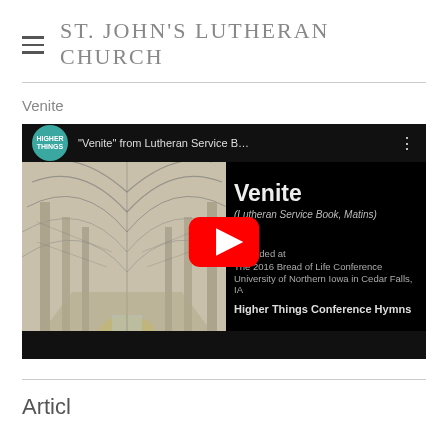ST. JOHN'S LUTHERAN CHURCH
Venite
[Figure (screenshot): YouTube video thumbnail for 'Venite' from Lutheran Service Book, showing a cathedral interior sketch illustration on the left, video title 'Venite (Lutheran Service Book, Matins)' on the right, a YouTube play button in the center, recorded at The 2016 Bread of Life Conference University of Northern Iowa in Cedar Falls, IA, Higher Things Conference Hymns label, with Higher Things circular logo badge.]
Articles